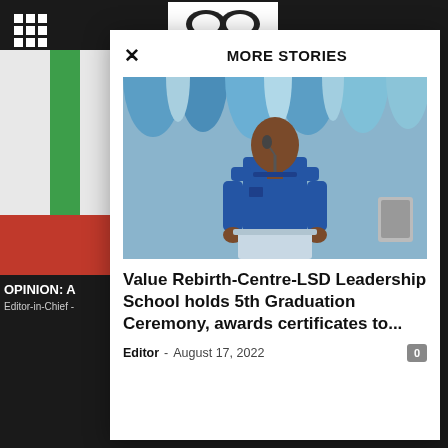MORE STORIES
OPINION: A
Editor-in-Chief -
[Figure (photo): Young man in blue shirt speaking at a podium/lectern with microphone, blue draped fabric in background]
Value Rebirth-Centre-LSD Leadership School holds 5th Graduation Ceremony, awards certificates to...
Editor - August 17, 2022